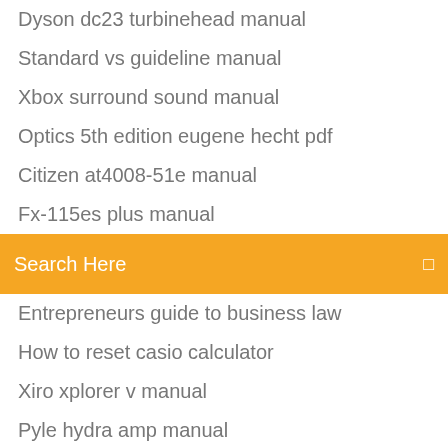Dyson dc23 turbinehead manual
Standard vs guideline manual
Xbox surround sound manual
Optics 5th edition eugene hecht pdf
Citizen at4008-51e manual
Fx-115es plus manual
[Figure (screenshot): Orange search bar with text 'Search Here' and a small icon on the right]
Entrepreneurs guide to business law
How to reset casio calculator
Xiro xplorer v manual
Pyle hydra amp manual
Garmin heart rate monitor strap instructions
2002 nissan altima owners manual
Simpson timber connectors manual
Connecticut birds identification manual
Stadium commons mankato manual
How to get museum kudos osrs
Roland bk 3 manual